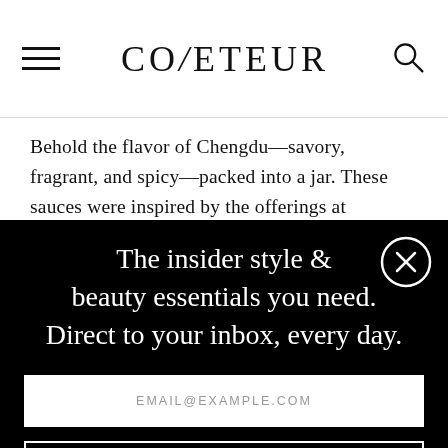COVETEUR
Behold the flavor of Chengdu—savory, fragrant, and spicy—packed into a jar. These sauces were inspired by the offerings at Chengdu's popular hole-in-the-wall restaurant.
The insider style & beauty essentials you need. Direct to your inbox, every day.
EMAIL@EXAMPLE.COM
SIGN UP